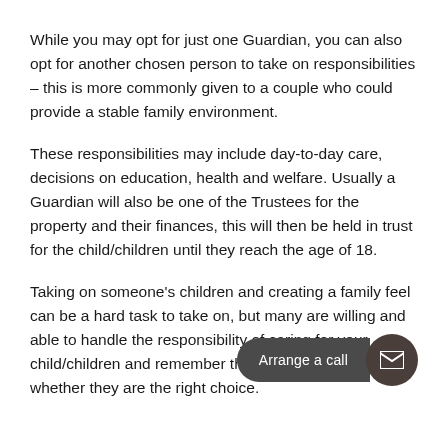While you may opt for just one Guardian, you can also opt for another chosen person to take on responsibilities – this is more commonly given to a couple who could provide a stable family environment.
These responsibilities may include day-to-day care, decisions on education, health and welfare. Usually a Guardian will also be one of the Trustees for the property and their finances, this will then be held in trust for the child/children until they reach the age of 18.
Taking on someone's children and creating a family feel can be a hard task to take on, but many are willing and able to handle the responsibility of caring for your child/children and remember that only you can decide whether they are the right choice.